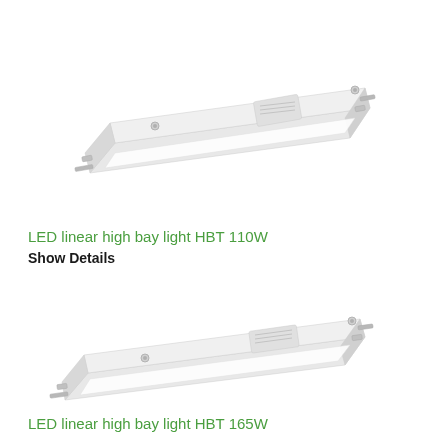[Figure (photo): LED linear high bay light HBT 110W - white rectangular industrial lighting fixture photographed at an angle]
LED linear high bay light HBT 110W
Show Details
[Figure (photo): LED linear high bay light HBT 165W - white rectangular industrial lighting fixture photographed at an angle, slightly larger than the 110W model]
LED linear high bay light HBT 165W